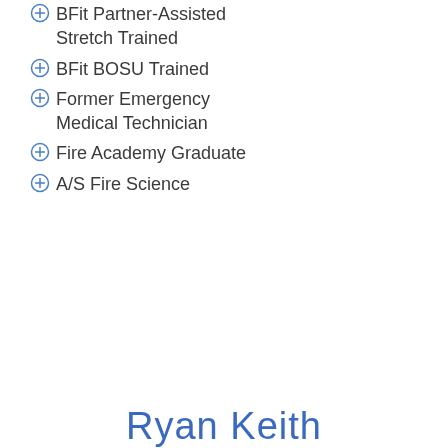BFit Partner-Assisted Stretch Trained
BFit BOSU Trained
Former Emergency Medical Technician
Fire Academy Graduate
A/S Fire Science
Ryan Keith